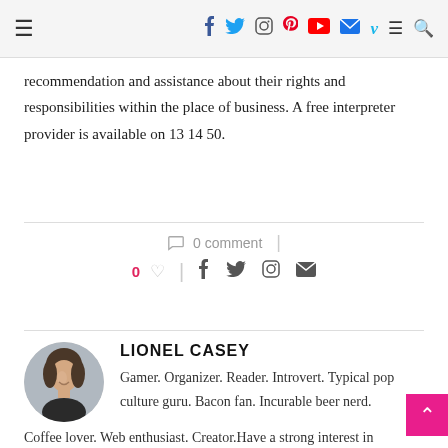Navigation bar with hamburger menu and social icons: facebook, twitter, instagram, pinterest, youtube, mail, vimeo, menu, search
recommendation and assistance about their rights and responsibilities within the place of business. A free interpreter provider is available on 13 14 50.
0 comment
0 ♡  f  t  ⊕  ✉
LIONEL CASEY
Gamer. Organizer. Reader. Introvert. Typical pop culture guru. Bacon fan. Incurable beer nerd. Coffee lover. Web enthusiast. Creator.Have a strong interest in consulting about methane in Tampa, FL. Uniquely-equipped for getting my feet wet with magma in Fort Walton Beach, FL. Spent